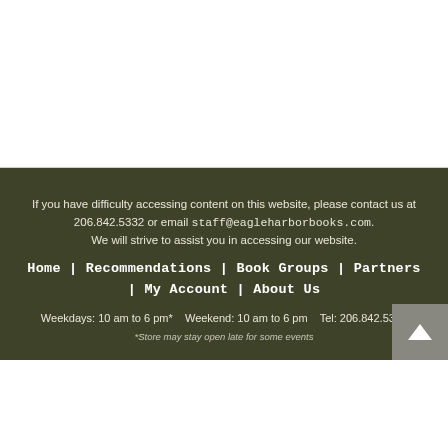If you have difficulty accessing content on this website, please contact us at 206.842.5332 or email staff@eagleharborbooks.com. We will strive to assist you in accessing our website.
Home | Recommendations | Book Groups | Partners | My Account | About Us
Weekdays: 10 am to 6 pm*    Weekend: 10 am to 6 pm     Tel: 206.842.5332
*Store may stay open late for some events